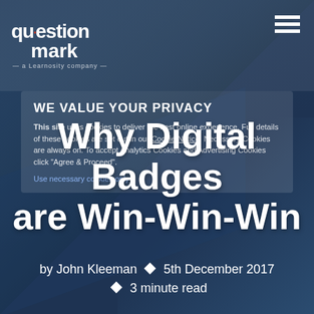[Figure (logo): Questionmark logo - a Learnosity company]
WE VALUE YOUR PRIVACY
This site uses cookies to deliver the best online experience. Full details of these cookies are set out in our Cookie Notice. Necessary Cookies are always on. To accept Analytics Cookies and Advertising Cookies click "Agree & Proceed".
Use necessary cookies only
Why Digital Badges are Win-Win-Win
by John Kleeman ◆ 5th December 2017 ◆ 3 minute read